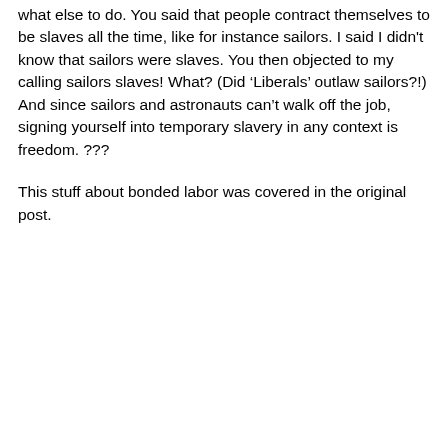what else to do. You said that people contract themselves to be slaves all the time, like for instance sailors. I said I didn't know that sailors were slaves. You then objected to my calling sailors slaves! What? (Did 'Liberals' outlaw sailors?!) And since sailors and astronauts can't walk off the job, signing yourself into temporary slavery in any context is freedom. ???
This stuff about bonded labor was covered in the original post.